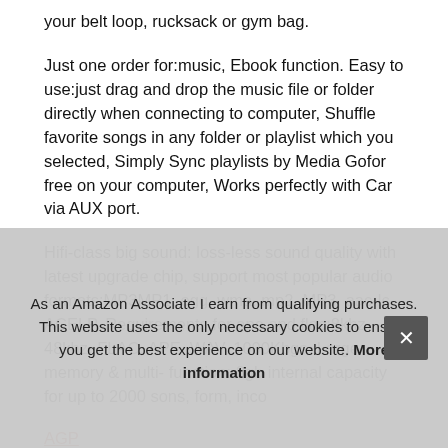your belt loop, rucksack or gym bag.
Just one order for:music, Ebook function. Easy to use:just drag and drop the music file or folder directly when connecting to computer, Shuffle favorite songs in any folder or playlist which you selected, Simply Sync playlists by Media Gofor free on your computer, Works perfectly with Car via AUX port.
Hifi-class big sound: loss-less sound quality with latest upgrade chip, support most popular audio formats:MP3MP1, ogg, wma, mp2, MP3, aac-lc, ACELP. Requirements for ape and flac:8khz-48khz, FLAC, APE, WAV, 1000Kbgs. Large memory & multi- function: 8gb internal capacity for up to 2000 songs, form, inco
As an Amazon Associate I earn from qualifying purchases. This website uses the only necessary cookies to ensure you get the best experience on our website. More information
AGPTEK A02/ A20/ A01S/T/ A22/ A29/ C05/ M07/ C3 Mp3